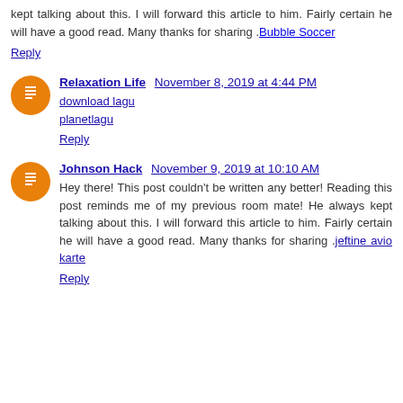kept talking about this. I will forward this article to him. Fairly certain he will have a good read. Many thanks for sharing .Bubble Soccer
Reply
Relaxation Life  November 8, 2019 at 4:44 PM
download lagu
planetlagu
Reply
Johnson Hack  November 9, 2019 at 10:10 AM
Hey there! This post couldn't be written any better! Reading this post reminds me of my previous room mate! He always kept talking about this. I will forward this article to him. Fairly certain he will have a good read. Many thanks for sharing .jeftine avio karte
Reply